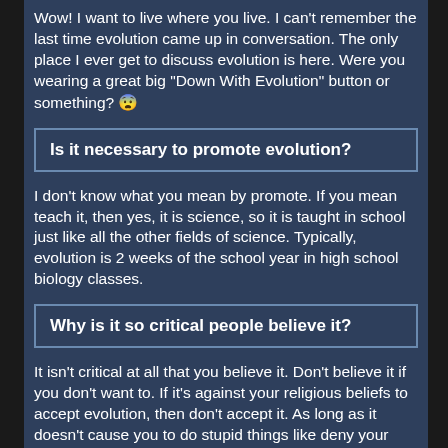Wow! I want to live where you live. I can't remember the last time evolution came up in conversation. The only place I ever get to discuss evolution is here. Were you wearing a great big "Down With Evolution" button or something? 😨
Is it necessary to promote evolution?
I don't know what you mean by promote. If you mean teach it, then yes, it is science, so it is taught in school just like all the other fields of science. Typically, evolution is 2 weeks of the school year in high school biology classes.
Why is it so critical people believe it?
It isn't critical at all that you believe it. Don't believe it if you don't want to. If it's against your religious beliefs to accept evolution, then don't accept it. As long as it doesn't cause you to do stupid things like deny your